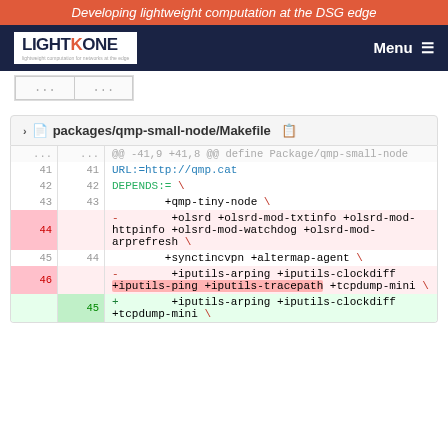Developing lightweight computation at the DSG edge
[Figure (screenshot): LightKone logo with navigation bar showing Menu button on dark navy background]
| ... | ... |
| --- | --- |
packages/qmp-small-node/Makefile
| old line | new line | code |
| --- | --- | --- |
| ... | ... | @@ -41,9 +41,8 @@ define Package/qmp-small-node |
| 41 | 41 |     URL:=http://qmp.cat |
| 42 | 42 |     DEPENDS:= \ |
| 43 | 43 |             +qmp-tiny-node \ |
| 44 |  | -           +olsrd +olsrd-mod-txtinfo +olsrd-mod-httpinfo +olsrd-mod-watchdog +olsrd-mod-arprefresh \ |
| 45 | 44 |             +synctincvpn +altermap-agent \ |
| 46 |  | -           +iputils-arping +iputils-clockdiff +iputils-ping +iputils-tracepath +tcpdump-mini \ |
|  | 45 | +           +iputils-arping +iputils-clockdiff +tcpdump-mini \ |